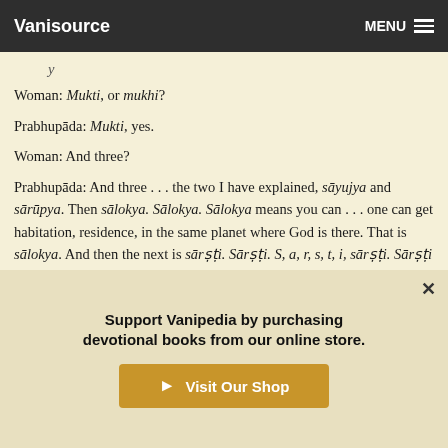Vanisource   MENU
y
Woman: Mukti, or mukhi?
Prabhupāda: Mukti, yes.
Woman: And three?
Prabhupāda: And three . . . the two I have explained, sāyujya and sārūpya. Then sālokya. Sālokya. Sālokya means you can . . . one can get habitation, residence, in the same planet where God is there. That is sālokya. And then the next is sārṣṭi. Sārṣṭi. S, a, r, s, t, i, sārṣṭi. Sārṣṭi means to get the same opulence. As I have already explained, opulence, he . . . he gets all the opulences as the Lord has got. He becomes so . . . as good as Lord, becomes
Support Vanipedia by purchasing devotional books from our online store.
Visit Our Shop